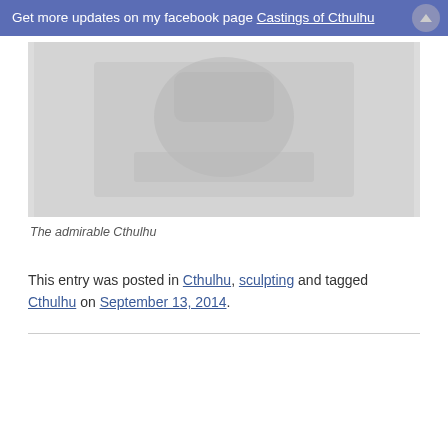Get more updates on my facebook page Castings of Cthulhu
[Figure (photo): Greyscale/faded photo of a Cthulhu sculpture or casting]
The admirable Cthulhu
This entry was posted in Cthulhu, sculpting and tagged Cthulhu on September 13, 2014.